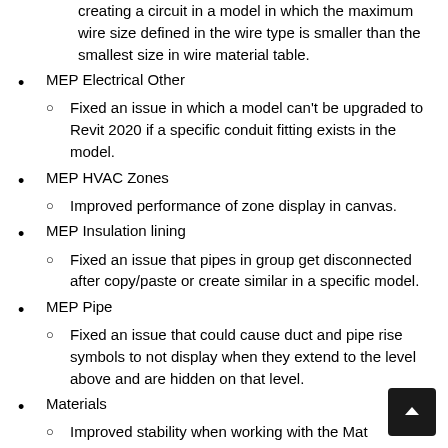creating a circuit in a model in which the maximum wire size defined in the wire type is smaller than the smallest size in wire material table.
MEP Electrical Other
Fixed an issue in which a model can't be upgraded to Revit 2020 if a specific conduit fitting exists in the model.
MEP HVAC Zones
Improved performance of zone display in canvas.
MEP Insulation lining
Fixed an issue that pipes in group get disconnected after copy/paste or create similar in a specific model.
MEP Pipe
Fixed an issue that could cause duct and pipe rise symbols to not display when they extend to the level above and are hidden on that level.
Materials
Improved stability when working with the Mat…